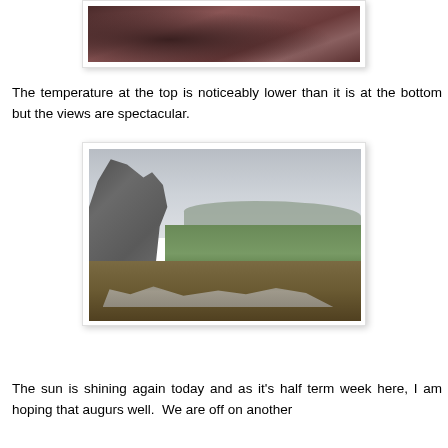[Figure (photo): Partial view of heather-covered moorland with reddish-brown vegetation, top of page cropped]
The temperature at the top is noticeably lower than it is at the bottom but the views are spectacular.
[Figure (photo): Landscape view from hilltop showing large granite rock formation on the left, expansive green valley below and distant hills on the horizon under a cloudy sky]
The sun is shining again today and as it's half term week here, I am hoping that augurs well.  We are off on another